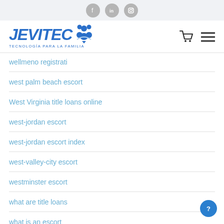JEVITEC - TECNOLOGÍA PARA LA FAMILIA
wellmeno registrati
west palm beach escort
West Virginia title loans online
west-jordan escort
west-jordan escort index
west-valley-city escort
westminster escort
what are title loans
what is an escort